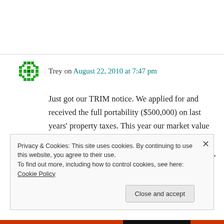Trey on August 22, 2010 at 7:47 pm
Just got our TRIM notice. We applied for and received the full portability ($500,000) on last years' property taxes. This year our market value went down, but they also decreased our Save our Home Cap by $65,000. Can they do this, and if so, how is it calculated?
Privacy & Cookies: This site uses cookies. By continuing to use this website, you agree to their use.
To find out more, including how to control cookies, see here: Cookie Policy